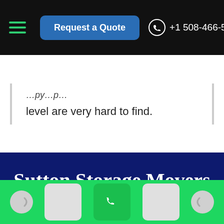Request a Quote  +1 508-466-5874
level are very hard to find.
Sutton Storage Movers
Storage Services
We can provide you with customized storage to suit your specific needs. Fresh Start – The Moving Crew provides our storage service. Our storage is fully licensed and insured with the Department of